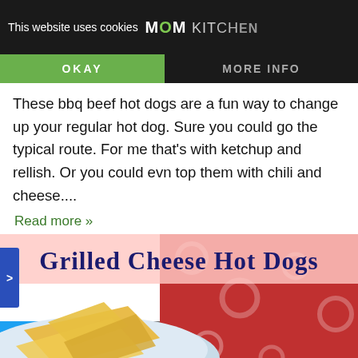This website uses cookies
OKAY  MORE INFO
These bbq beef hot dogs are a fun way to change up your regular hot dog. Sure you could go the typical route. For me that's with ketchup and rellish. Or you could evn top them with chili and cheese....
Read more »
[Figure (photo): Grilled Cheese Hot Dogs food photo showing yellow cheesy hot dogs on a blue plate with red floral background]
Twitter | Facebook | Email | WhatsApp | Pinterest | More